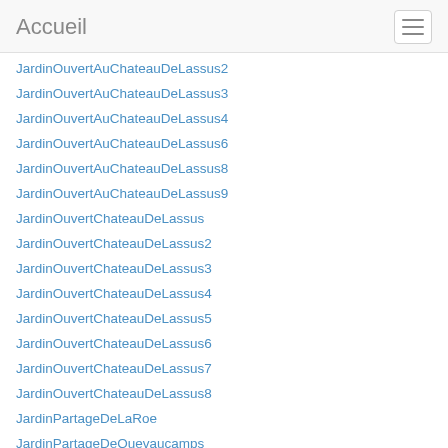Accueil
JardinOuvertAuChateauDeLassus2
JardinOuvertAuChateauDeLassus3
JardinOuvertAuChateauDeLassus4
JardinOuvertAuChateauDeLassus6
JardinOuvertAuChateauDeLassus8
JardinOuvertAuChateauDeLassus9
JardinOuvertChateauDeLassus
JardinOuvertChateauDeLassus2
JardinOuvertChateauDeLassus3
JardinOuvertChateauDeLassus4
JardinOuvertChateauDeLassus5
JardinOuvertChateauDeLassus6
JardinOuvertChateauDeLassus7
JardinOuvertChateauDeLassus8
JardinPartageDeLaRoe
JardinPartageDeQuevaucamps
JardinPartageDuPreau
JardinsBiologiquesDuHainaut
JardinScientifiqueEtSerreAPapillonsAuMus
JardinScientifiqueEtSerreAPapillonsAuMus2